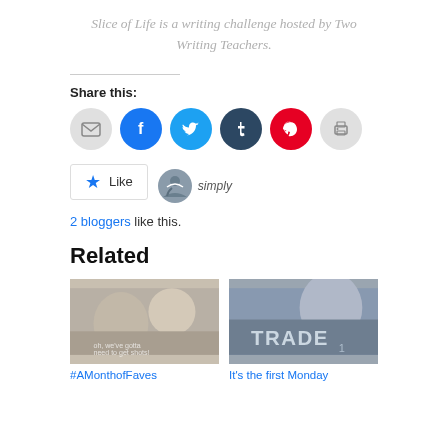Slice of Life is a writing challenge hosted by Two Writing Teachers.
Share this:
[Figure (infographic): Row of social share icon buttons: email (grey), Facebook (blue), Twitter (light blue), Tumblr (dark blue), Pinterest (red), Print (grey)]
[Figure (infographic): WordPress Like button with star icon and blogger avatar thumbnails]
2 bloggers like this.
Related
[Figure (photo): Screenshot thumbnail for #AMonthofFaves post]
#AMonthofFaves
[Figure (photo): Book cover thumbnail for It's the first Monday post with TRADE text overlay]
It's the first Monday